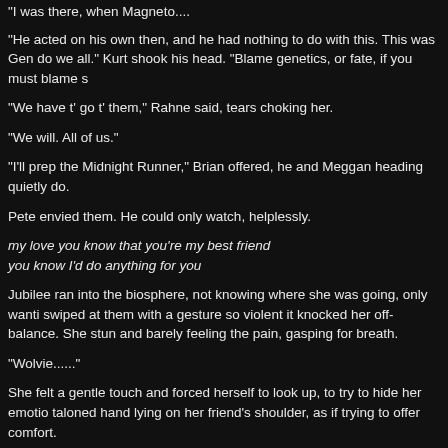"I was there, when Magneto....
"He acted on his own then, and he had nothing to do with this. This was Gen... do we all." Kurt shook his head. "Blame genetics, or fate, if you must blame s...
"We have t' go t' them," Rahne said, tears choking her.
"We will. All of us."
"I'll prep the Midnight Runner," Brian offered, he and Meggan heading quietly... do.
Pete envied them. He could only watch, helplessly.
my love you know that you're my best friend
you know I'd do anything for you
Jubilee ran into the biosphere, not knowing where she was going, only wanti... swiped at them with a gesture so violent it knocked her off-balance. She stun... and barely feeling the pain, gasping for breath.
"Wolvie......"
She felt a gentle touch and forced herself to look up, to try to hide her emotio... taloned hand lying on her friend's shoulder, as if trying to offer comfort.
Jubilee tried to smile, tried to be cool, but couldn't. "It's not fair, Penny," she s... her own. "Why does everything bad always have to happen to Wolvie? Why ... we could have gone cruising together, just like before. We wouldn't have had... would have gone... I would have gone anywhere..." Her voice broke; she fo...